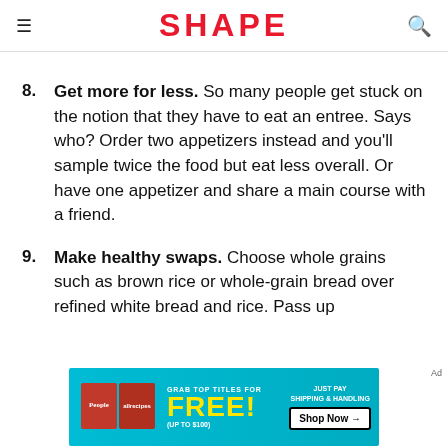SHAPE
8. Get more for less. So many people get stuck on the notion that they have to eat an entree. Says who? Order two appetizers instead and you'll sample twice the food but eat less overall. Or have one appetizer and share a main course with a friend.
9. Make healthy swaps. Choose whole grains such as brown rice or whole-grain bread over refined white bread and rice. Pass up
[Figure (advertisement): Advertisement banner: GRAB TOP TITLES FOR FREE! (UP TO $100) JUST PAY SHIPPING & HANDLING Shop Now → featuring People and allrecipes magazines]